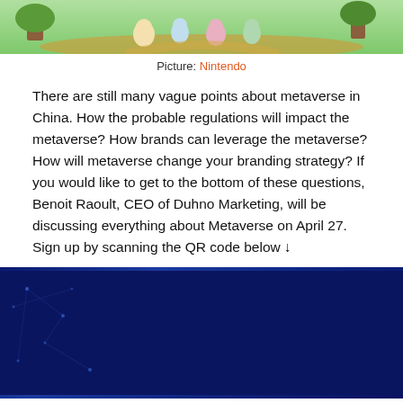[Figure (illustration): Nintendo Animal Crossing style game screenshot showing cartoon animal characters in a colorful outdoor scene with trees and paths]
Picture: Nintendo
There are still many vague points about metaverse in China. How the probable regulations will impact the metaverse? How brands can leverage the metaverse? How will metaverse change your branding strategy? If you would like to get to the bottom of these questions, Benoit Raoult, CEO of Duhno Marketing, will be discussing everything about Metaverse on April 27. Sign up by scanning the QR code below ↓
[Figure (logo): Event promotional banner showing CCI France Chine (中国法国工商会) logo, Dékuple Marketing Engineering logo, and another company logo on a dark blue digital background]